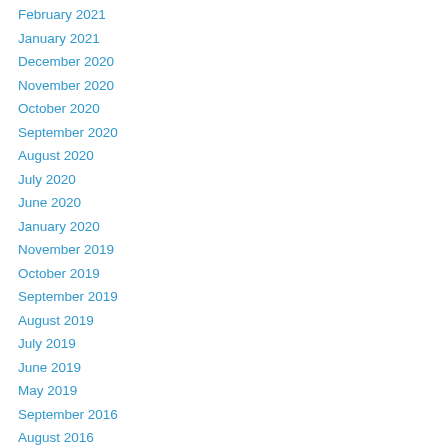February 2021
January 2021
December 2020
November 2020
October 2020
September 2020
August 2020
July 2020
June 2020
January 2020
November 2019
October 2019
September 2019
August 2019
July 2019
June 2019
May 2019
September 2016
August 2016
July 2016